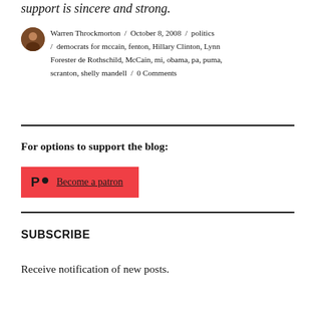support is sincere and strong.
Warren Throckmorton / October 8, 2008 / politics / democrats for mccain, fenton, Hillary Clinton, Lynn Forester de Rothschild, McCain, mi, obama, pa, puma, scranton, shelly mandell / 0 Comments
For options to support the blog:
[Figure (other): Patreon button with red background, Patreon logo icon (P with circle), and text 'Become a patron']
SUBSCRIBE
Receive notification of new posts.